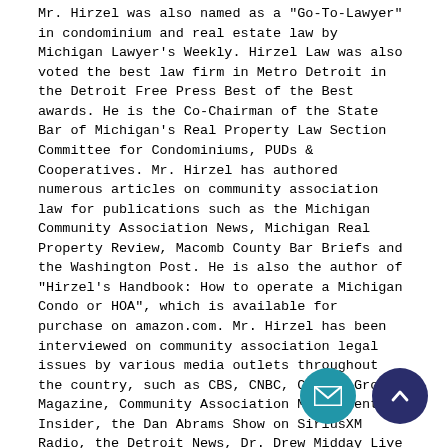Mr. Hirzel was also named as a "Go-To-Lawyer" in condominium and real estate law by Michigan Lawyer's Weekly. Hirzel Law was also voted the best law firm in Metro Detroit in the Detroit Free Press Best of the Best awards. He is the Co-Chairman of the State Bar of Michigan's Real Property Law Section Committee for Condominiums, PUDs & Cooperatives. Mr. Hirzel has authored numerous articles on community association law for publications such as the Michigan Community Association News, Michigan Real Property Review, Macomb County Bar Briefs and the Washington Post. He is also the author of "Hirzel's Handbook: How to operate a Michigan Condo or HOA", which is available for purchase on amazon.com. Mr. Hirzel has been interviewed on community association legal issues by various media outlets throughout the country, such as CBS, CNBC, Common Ground Magazine, Community Association Management Insider, the Dan Abrams Show on SiriusXM Radio, the Detroit News, Dr. Drew Midday Live on KABC Radio, Fox Business News, Fox News, HOALeader.com, the Law & Crime Network, Michigan Lawyer's Weekly, NPR, WWJ News Radio and WXYZ. Mr. Hirzel is a dynamic speaker and frequently lectures on community association law throughout Michigan, as